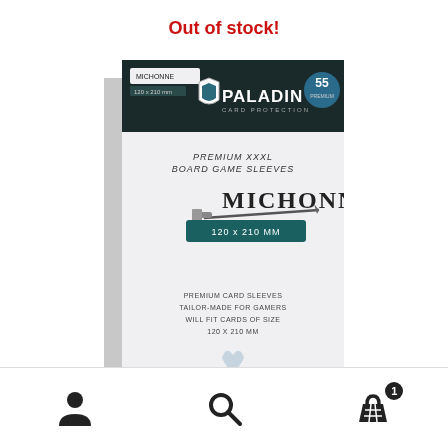Out of stock!
[Figure (photo): Paladin Card Protection - Premium XXXL Board Game Sleeves - Michonne - 120 x 210 mm product box. White box with dark teal header showing PALADIN CARD PROTECTION logo with a shield icon. Front shows 'PREMIUM XXXL BOARD GAME SLEEVES' and 'MICHONNE' with a sword graphic, teal banner reading '120 x 210 MM'. Bottom text: 'PREMIUM CARD SLEEVES TAILOR-MADE FOR GAMERS WILL FIT CARDS OF SIZE 120 X 210 MM'.]
[Figure (infographic): Bottom navigation bar with three icons: person/account icon (left), magnifying glass/search icon (center), shopping basket icon with badge showing '1' (right).]